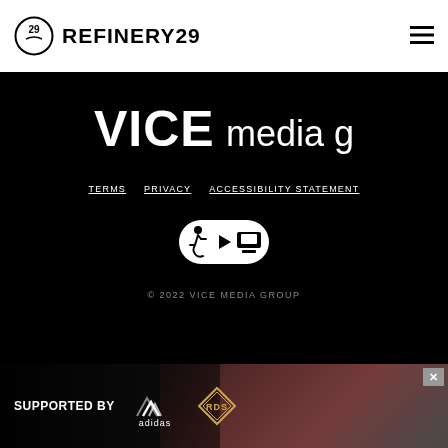REFINERY29
[Figure (logo): VICE media group logo in white on black background]
TERMS   PRIVACY   ACCESSIBILITY STATEMENT
[Figure (logo): Accessibility badge icon with wheelchair and video symbols]
© 2022 VICE MEDIA GROUP
[Figure (photo): SUPPORTED BY adidas and RDS banner ad with photo of person in background]